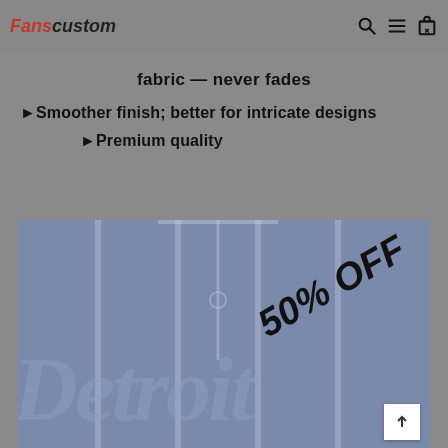Fanscustom
fabric — never fades
►Smoother finish; better for intricate designs
►Premium quality
[Figure (photo): Close-up of a Detroit baseball jersey in blue-grey with '50% OFF' diagonal overlay text, showing the script 'Detroit' on the jersey fabric.]